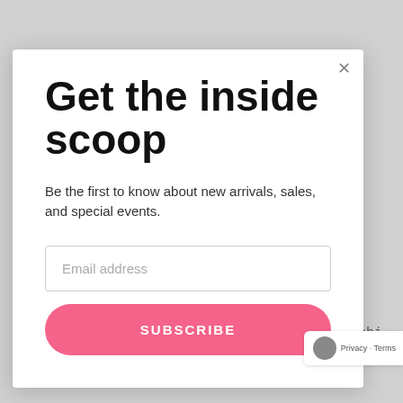instructions for using a fabric cutting machi such as AccuQuilt.
Get the inside scoop
Be the first to know about new arrivals, sales, and special events.
Email address
SUBSCRIBE
Privacy · Terms